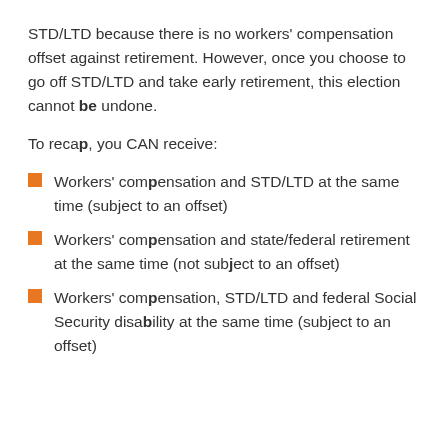STD/LTD because there is no workers' compensation offset against retirement. However, once you choose to go off STD/LTD and take early retirement, this election cannot be undone.
To recap, you CAN receive:
Workers' compensation and STD/LTD at the same time (subject to an offset)
Workers' compensation and state/federal retirement at the same time (not subject to an offset)
Workers' compensation, STD/LTD and federal Social Security disability at the same time (subject to an offset)